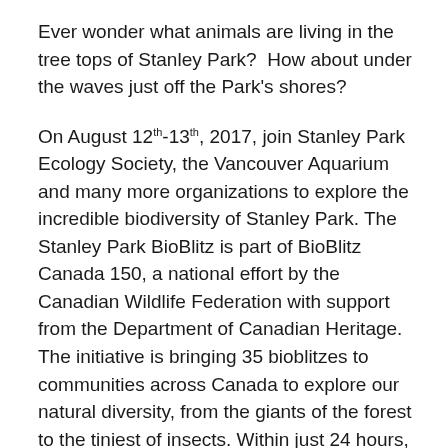Ever wonder what animals are living in the tree tops of Stanley Park?  How about under the waves just off the Park's shores?
On August 12th-13th, 2017, join Stanley Park Ecology Society, the Vancouver Aquarium and many more organizations to explore the incredible biodiversity of Stanley Park. The Stanley Park BioBlitz is part of BioBlitz Canada 150, a national effort by the Canadian Wildlife Federation with support from the Department of Canadian Heritage. The initiative is bringing 35 bioblitzes to communities across Canada to explore our natural diversity, from the giants of the forest to the tiniest of insects. Within just 24 hours, we will survey intertidal areas, plants, insects, birds, small mammals and more!